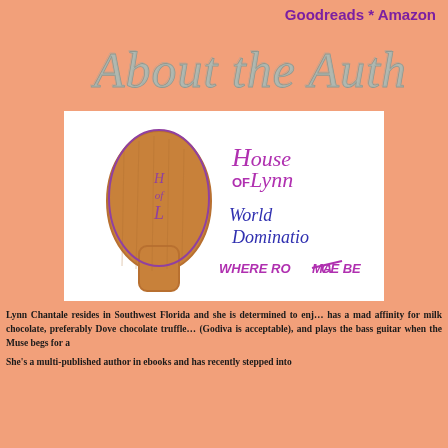Goodreads * Amazon
About the Author
[Figure (logo): House of Lynn logo with wooden paddle and text: House of Lynn, World Domination, WHERE ROMANCE BEGINS]
Lynn Chantale resides in Southwest Florida and she is determined to enjoy life. She has a mad affinity for milk chocolate, preferably Dove chocolate truffles (Godiva is acceptable), and plays the bass guitar when the Muse begs for a break.
She's a multi-published author in ebooks and has recently stepped into...